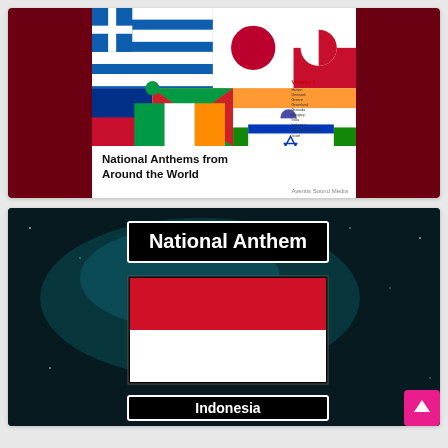[Figure (illustration): Book cover of 'National Anthems from Around the World Volume 5' showing collage of national flags (Greece, Japan, Greenland, Haiti, Ireland, India, Israel, Grenada) on white background with dark red border sides]
[Figure (illustration): Video thumbnail for Indonesia National Anthem showing Indonesian flag (red and white horizontal bicolor) against dark teal/space background with 'National Anthem' title box at top and 'Indonesia' label box at bottom, with pink scroll-up button]